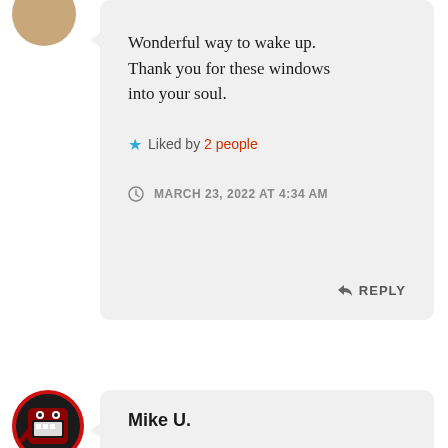Wonderful way to wake up. Thank you for these windows into your soul.
Liked by 2 people
MARCH 23, 2022 AT 4:34 AM
REPLY
Mike U.
Thank you so much! I'm truly glad you enjoyed these